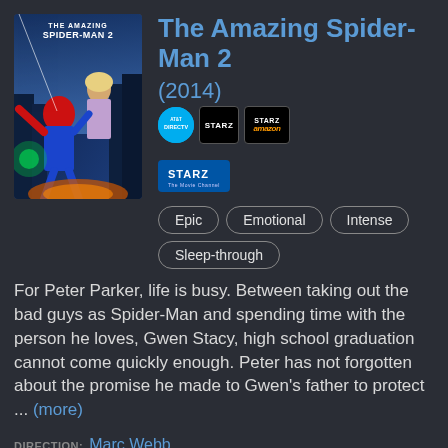[Figure (photo): Movie poster for The Amazing Spider-Man 2 showing Spider-Man and Gwen Stacy]
The Amazing Spider-Man 2 (2014)
Epic  Emotional  Intense  Sleep-through
For Peter Parker, life is busy. Between taking out the bad guys as Spider-Man and spending time with the person he loves, Gwen Stacy, high school graduation cannot come quickly enough. Peter has not forgotten about the promise he made to Gwen's father to protect ... (more)
DIRECTION: Marc Webb
CAST: Andrew Garfield • Jamie Foxx • Emma Stone • Dane DeHaan